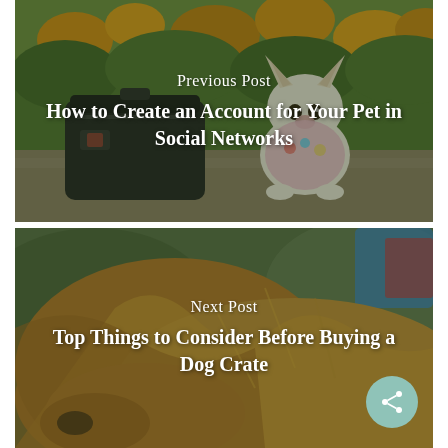[Figure (photo): Photo of a small white chihuahua dog wearing a floral outfit sitting next to a black camera bag, with orange flowers in the background. Text overlay reads 'Previous Post' and 'How to Create an Account for Your Pet in Social Networks']
Previous Post
How to Create an Account for Your Pet in Social Networks
[Figure (photo): Close-up photo of a golden/brown long-haired dog with blurred green background and colorful elements. Text overlay reads 'Next Post' and 'Top Things to Consider Before Buying a Dog Crate']
Next Post
Top Things to Consider Before Buying a Dog Crate